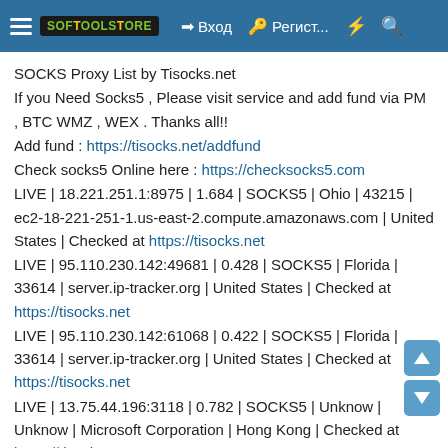SOFTOOLSTORE | Вход | Регист... | ⚡ | 🔍
SOCKS Proxy List by Tisocks.net
If you Need Socks5 , Please visit service and add fund via PM , BTC WMZ , WEX . Thanks all!!
Add fund : https://tisocks.net/addfund
Check socks5 Online here : https://checksocks5.com
LIVE | 18.221.251.1:8975 | 1.684 | SOCKS5 | Ohio | 43215 | ec2-18-221-251-1.us-east-2.compute.amazonaws.com | United States | Checked at https://tisocks.net
LIVE | 95.110.230.142:49681 | 0.428 | SOCKS5 | Florida | 33614 | server.ip-tracker.org | United States | Checked at https://tisocks.net
LIVE | 95.110.230.142:61068 | 0.422 | SOCKS5 | Florida | 33614 | server.ip-tracker.org | United States | Checked at https://tisocks.net
LIVE | 13.75.44.196:3118 | 0.782 | SOCKS5 | Unknow | Unknow | Microsoft Corporation | Hong Kong | Checked at https://tisocks.net
LIVE | 185.153.198.223:65158 | 0.612 | SOCKS5 | Unknow |